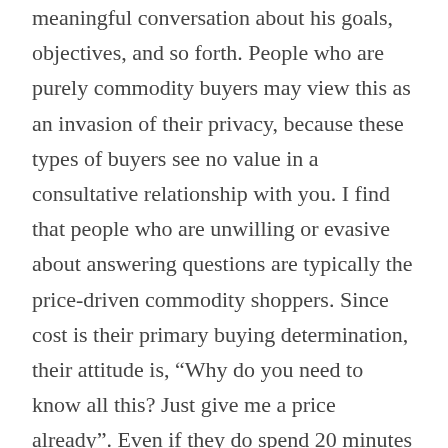meaningful conversation about his goals, objectives, and so forth. People who are purely commodity buyers may view this as an invasion of their privacy, because these types of buyers see no value in a consultative relationship with you. I find that people who are unwilling or evasive about answering questions are typically the price-driven commodity shoppers. Since cost is their primary buying determination, their attitude is, “Why do you need to know all this? Just give me a price already”. Even if they do spend 20 minutes or so going through the consultative process with you, oftentimes the bottom line is that you’re still “too expensive.”